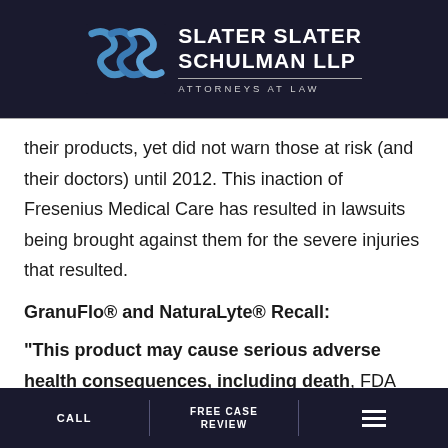SLATER SLATER SCHULMAN LLP ATTORNEYS AT LAW
their products, yet did not warn those at risk (and their doctors) until 2012. This inaction of Fresenius Medical Care has resulted in lawsuits being brought against them for the severe injuries that resulted.
GranuFlo® and NaturaLyte® Recall:
“This product may cause serious adverse health consequences, including death, FDA Recall Notice
CALL | FREE CASE REVIEW | [menu]